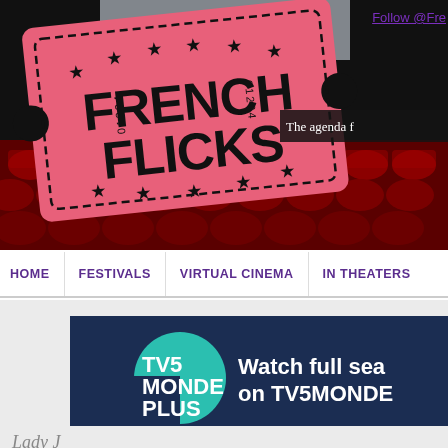[Figure (illustration): French Flicks website header banner showing a pink movie ticket with FRENCH FLICKS text over a dark cinema interior with red seats background]
Follow @Fre
The agenda f
HOME | FESTIVALS | VIRTUAL CINEMA | IN THEATERS
[Figure (logo): TV5 MONDE PLUS advertisement banner with teal teardrop logo on dark navy background with text: Watch full sea on TV5MONDE]
Lady J